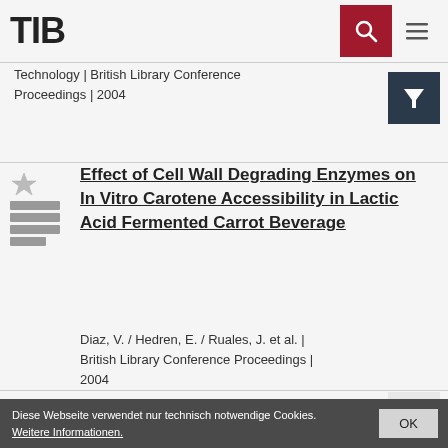TIB
Technology | British Library Conference Proceedings | 2004
Effect of Cell Wall Degrading Enzymes on In Vitro Carotene Accessibility in Lactic Acid Fermented Carrot Beverage
Diaz, V. / Hedren, E. / Ruales, J. et al. | British Library Conference Proceedings | 2004
Diese Webseite verwendet nur technisch notwendige Cookies. Weitere Informationen.